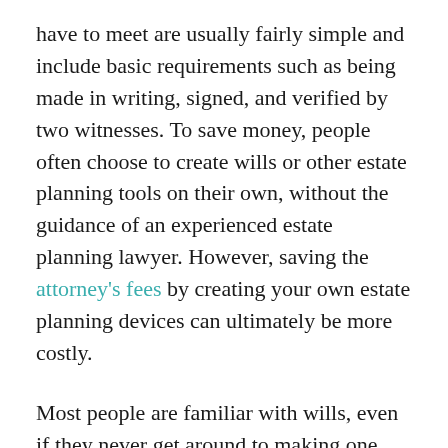have to meet are usually fairly simple and include basic requirements such as being made in writing, signed, and verified by two witnesses. To save money, people often choose to create wills or other estate planning tools on their own, without the guidance of an experienced estate planning lawyer. However, saving the attorney's fees by creating your own estate planning devices can ultimately be more costly.
Most people are familiar with wills, even if they never get around to making one. Wills are key tools in estate planning, an area of the law that allows you to control what happens to you, your family, and your possessions if you lose capacity or die. Wills serve a key role in any good estate plan,